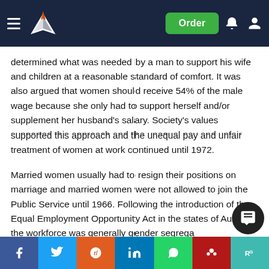Navigation bar with logo, Order button, notification and account icons
determined what was needed by a man to support his wife and children at a reasonable standard of comfort. It was also argued that women should receive 54% of the male wage because she only had to support herself and/or supplement her husband's salary. Society's values supported this approach and the unequal pay and unfair treatment of women at work continued until 1972.
Married women usually had to resign their positions on marriage and married women were not allowed to join the Public Service until 1966. Following the introduction of the Equal Employment Opportunity Act in the states of Australia the workforce was generally gender segrega
However, there are still very few women in senior management d fewer women dir rs to
[Figure (other): Social sharing button bar at the bottom: Facebook, Twitter, Reddit, LinkedIn, WhatsApp, Mendeley, ResearchGate buttons]